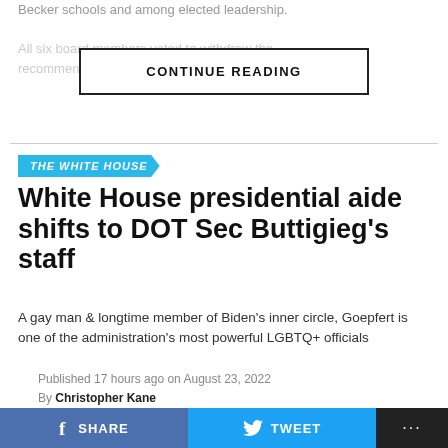Becker schools and among elected leadership.
All six board members voted to withdraw the recommendation after a withdrawn elected in May —
CONTINUE READING
THE WHITE HOUSE
White House presidential aide shifts to DOT Sec Buttigieg's staff
A gay man & longtime member of Biden's inner circle, Goepfert is one of the administration's most powerful LGBTQ+ officials
Published 17 hours ago on August 23, 2022
By Christopher Kane
[Figure (photo): Photo of people at the White House]
SHARE
TWEET
...